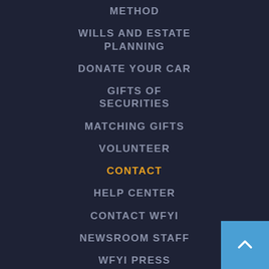METHOD
WILLS AND ESTATE PLANNING
DONATE YOUR CAR
GIFTS OF SECURITIES
MATCHING GIFTS
VOLUNTEER
CONTACT
HELP CENTER
CONTACT WFYI
NEWSROOM STAFF
WFYI PRESS RELEASES